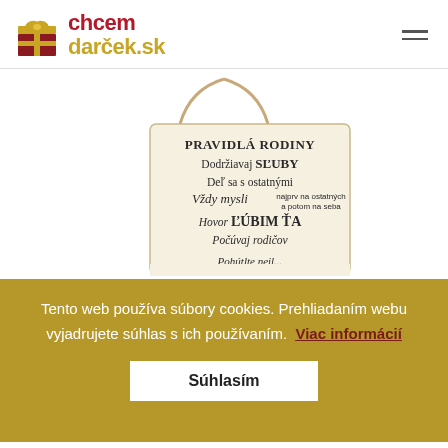[Figure (logo): chcemdarček.sk logo with gift box icon in dark red and text in dark red and gold]
[Figure (photo): Wooden hanging plaque with Slovak family rules text: PRAVIDLÁ RODINY, Dodržiavaj SĽUBY, Deľ sa s ostatnými, Vždy mysli najprv na ostatných a potom na seba, Hovor ĽÚBIM ŤA, Počúvaj rodičov, partially cut off last line]
Tento web používa súbory cookies. Prehliadaním webu vyjadrujete súhlas s ich používaním.
Viac informácií
Súhlasím